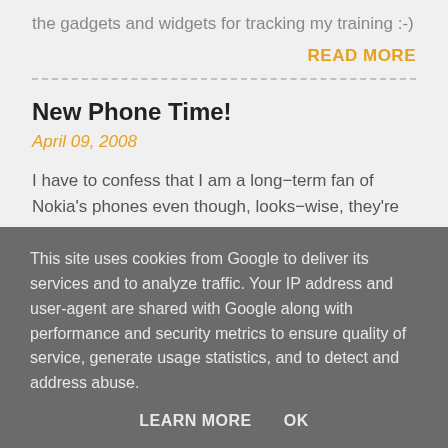the gadgets and widgets for tracking my training :-) I ha ...
READ MORE
New Phone Time!
April 09, 2008
I have to confess that I am a long-term fan of Nokia's phones even though, looks-wise, they're looking quite dated now. The first phone I ever had was a 3210 and it ...
This site uses cookies from Google to deliver its services and to analyze traffic. Your IP address and user-agent are shared with Google along with performance and security metrics to ensure quality of service, generate usage statistics, and to detect and address abuse.
LEARN MORE   OK